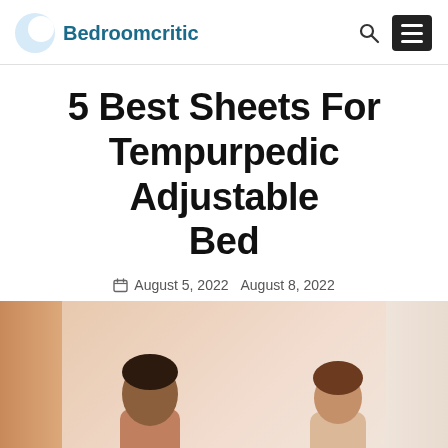Bedroomcritic
5 Best Sheets For Tempurpedic Adjustable Bed
August 5, 2022  August 8, 2022
[Figure (photo): Two people on an adjustable bed with curtains in the background, bedroom setting]